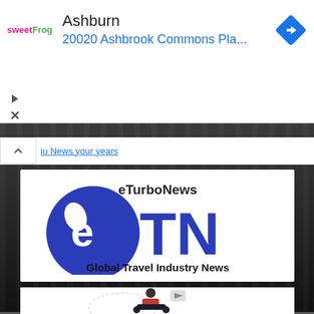[Figure (screenshot): Ad banner showing sweetFrog logo, 'Ashburn' text, '20020 Ashbrook Commons Pla...' address in blue, and a blue navigation diamond icon on the right]
iu News your years
[Figure (logo): eTurboNews (eTN) logo — blue circle with white 'e' and 'TN' letters, text 'eTurboNews' above and 'Global Travel Industry News' below]
[Figure (illustration): Partial illustration of a person on a scooter with media/social icons]